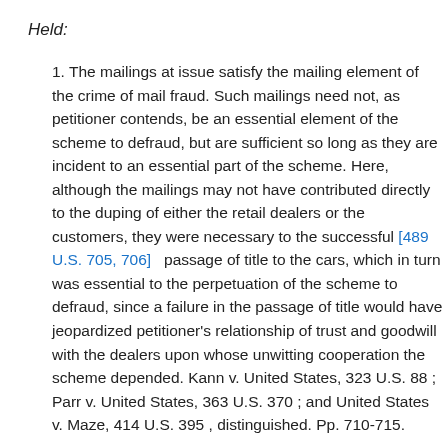Held:
1. The mailings at issue satisfy the mailing element of the crime of mail fraud. Such mailings need not, as petitioner contends, be an essential element of the scheme to defraud, but are sufficient so long as they are incident to an essential part of the scheme. Here, although the mailings may not have contributed directly to the duping of either the retail dealers or the customers, they were necessary to the successful [489 U.S. 705, 706] passage of title to the cars, which in turn was essential to the perpetuation of the scheme to defraud, since a failure in the passage of title would have jeopardized petitioner's relationship of trust and goodwill with the dealers upon whose unwitting cooperation the scheme depended. Kann v. United States, 323 U.S. 88 ; Parr v. United States, 363 U.S. 370 ; and United States v. Maze, 414 U.S. 395 , distinguished. Pp. 710-715.